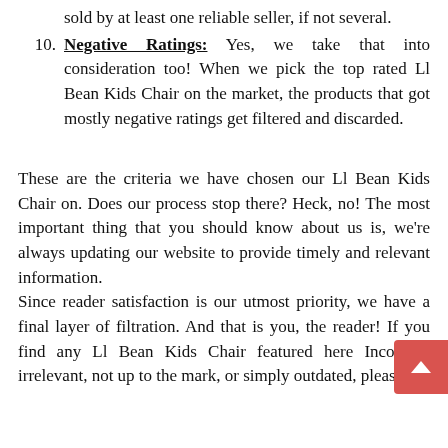sold by at least one reliable seller, if not several.
Negative Ratings: Yes, we take that into consideration too! When we pick the top rated Ll Bean Kids Chair on the market, the products that got mostly negative ratings get filtered and discarded.
These are the criteria we have chosen our Ll Bean Kids Chair on. Does our process stop there? Heck, no! The most important thing that you should know about us is, we're always updating our website to provide timely and relevant information.
Since reader satisfaction is our utmost priority, we have a final layer of filtration. And that is you, the reader! If you find any Ll Bean Kids Chair featured here Incorrect, irrelevant, not up to the mark, or simply outdated, please let